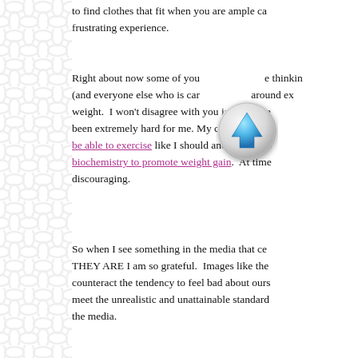to find clothes that fit when you are ample ca... frustrating experience.
Right about now some of you thinking (and everyone else who is carrying around ex... weight. I won't disagree with you in principle... been extremely hard for me. My chronic illne... be able to exercise like I should and they are ... biochemistry to promote weight gain. At tim... discouraging.
[Figure (illustration): A circular scroll-up button with a light grey/silver bezel and a blue upward arrow in the center, overlaid on the text.]
So when I see something in the media that ce... THEY ARE I am so grateful. Images like the... counteract the tendency to feel bad about ours... meet the unrealistic and unattainable standard... the media.